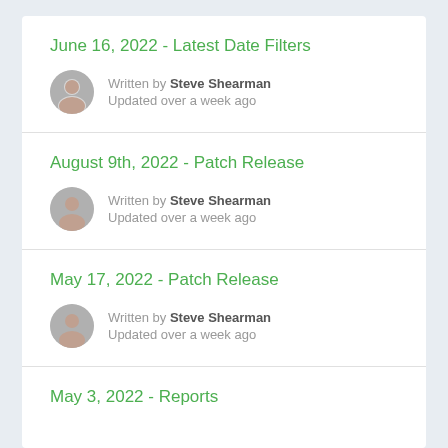June 16, 2022 - Latest Date Filters
Written by Steve Shearman
Updated over a week ago
August 9th, 2022 - Patch Release
Written by Steve Shearman
Updated over a week ago
May 17, 2022 - Patch Release
Written by Steve Shearman
Updated over a week ago
May 3, 2022 - Reports